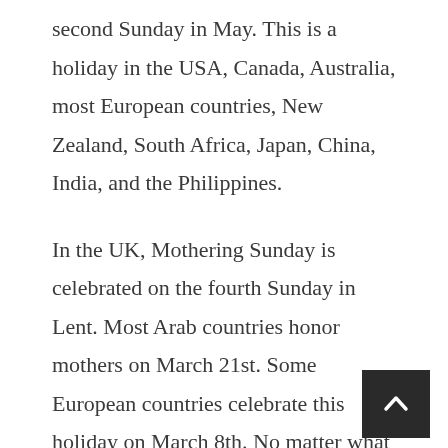second Sunday in May. This is a holiday in the USA, Canada, Australia, most European countries, New Zealand, South Africa, Japan, China, India, and the Philippines.
In the UK, Mothering Sunday is celebrated on the fourth Sunday in Lent. Most Arab countries honor mothers on March 21st. Some European countries celebrate this holiday on March 8th. No matter what day Mother's Day is celebrated in your country, you surely have at least a few incredible women in your life who deserve a shout-out on this day.